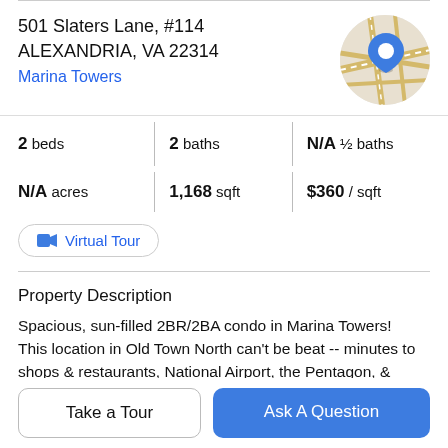501 Slaters Lane, #114
ALEXANDRIA, VA 22314
Marina Towers
[Figure (map): Circular map thumbnail with a blue location pin marker on a street map background with tan/gold road lines]
2 beds | 2 baths | N/A ½ baths | N/A acres | 1,168 sqft | $360 / sqft
Virtual Tour
Property Description
Spacious, sun-filled 2BR/2BA condo in Marina Towers! This location in Old Town North can't be beat -- minutes to shops & restaurants, National Airport, the Pentagon, &
DC7 Features include eat in kitchen with pantry and